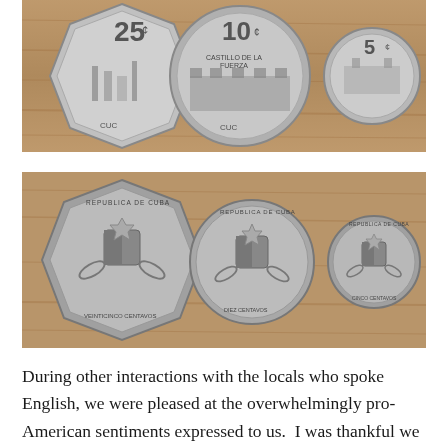[Figure (photo): Photo of three Cuban coins (obverse side) showing denominations 25 centavos, 10 centavos, and 5 centavos on a wooden surface]
[Figure (photo): Photo of three Cuban coins (reverse side) showing the Cuban coat of arms on each coin, arranged by size from left to right on a wooden surface]
During other interactions with the locals who spoke English, we were pleased at the overwhelmingly pro-American sentiments expressed to us.  I was thankful we